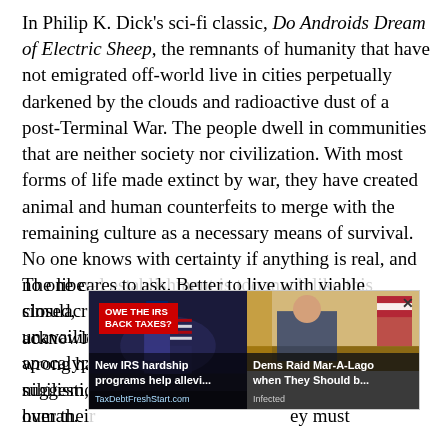In Philip K. Dick's sci-fi classic, Do Androids Dream of Electric Sheep, the remnants of humanity that have not emigrated off-world live in cities perpetually darkened by the clouds and radioactive dust of a post-Terminal War. The people dwell in communities that are neither society nor civilization. With most forms of life made extinct by war, they have created animal and human counterfeits to merge with the remaining culture as a necessary means of survival. No one knows with certainty if anything is real, and no one cares to ask. Better to live with viable simulacra and mood-altering machines than to acknowledge the truth of what intelligence gone wrong had made of the world. Reality is only a suggestion -- and even the androids think they are human.
The liberal establishment is too much like this closed, unavailing... Trump apocalyp... nihilism,... ured over thei... ey must
[Figure (screenshot): Two advertisement overlays side by side. Left ad: dark background with figure wearing Uncle Sam hat, red badge text 'OWE THE IRS BACK TAXES?', caption 'New IRS hardship programs help allevi...', URL 'TaxDebtFreshStart.com'. Right ad: photo of person at desk (appears to be political figure in office setting), close button X, caption 'Dems Raid Mar-A-Lago when They Should b...', label 'Infected'.]